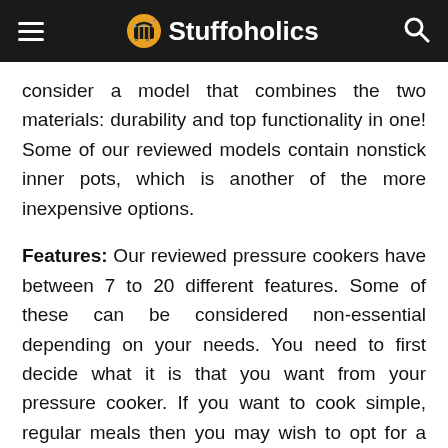Stuffoholics
consider a model that combines the two materials: durability and top functionality in one! Some of our reviewed models contain nonstick inner pots, which is another of the more inexpensive options.
Features: Our reviewed pressure cookers have between 7 to 20 different features. Some of these can be considered non-essential depending on your needs. You need to first decide what it is that you want from your pressure cooker. If you want to cook simple, regular meals then you may wish to opt for a simpler product rather than consider a pressure cooker with an additional rice or yogurt making settings. The reviews on each of the products will help you decide between what features are essential and non-